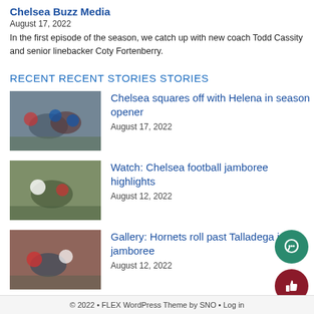Chelsea Buzz Media
August 17, 2022
In the first episode of the season, we catch up with new coach Todd Cassity and senior linebacker Coty Fortenberry.
RECENT RECENT STORIES STORIES
Chelsea squares off with Helena in season opener
August 17, 2022
Watch: Chelsea football jamboree highlights
August 12, 2022
Gallery: Hornets roll past Talladega in jamboree
August 12, 2022
© 2022 • FLEX WordPress Theme by SNO • Log in